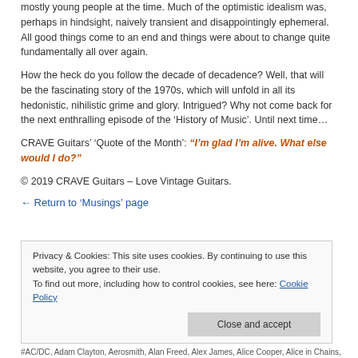mostly young people at the time. Much of the optimistic idealism was, perhaps in hindsight, naively transient and disappointingly ephemeral. All good things come to an end and things were about to change quite fundamentally all over again.
How the heck do you follow the decade of decadence? Well, that will be the fascinating story of the 1970s, which will unfold in all its hedonistic, nihilistic grime and glory. Intrigued? Why not come back for the next enthralling episode of the ‘History of Music’. Until next time…
CRAVE Guitars’ ‘Quote of the Month’: “I’m glad I’m alive. What else would I do?”
© 2019 CRAVE Guitars – Love Vintage Guitars.
← Return to ‘Musings’ page
Privacy & Cookies: This site uses cookies. By continuing to use this website, you agree to their use.
To find out more, including how to control cookies, see here: Cookie Policy
Close and accept
#AC/DC, Adam Clayton, Aerosmith, Alan Freed, Alex James, Alice Cooper, Alice in Chains,